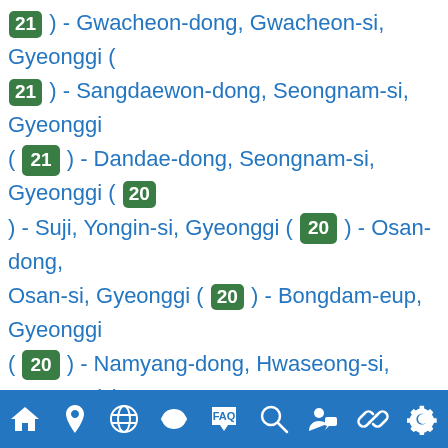21 ) - Gwacheon-dong, Gwacheon-si, Gyeonggi ( 21 ) - Sangdaewon-dong, Seongnam-si, Gyeonggi ( 21 ) - Dandae-dong, Seongnam-si, Gyeonggi ( 20 ) - Suji, Yongin-si, Gyeonggi ( 20 ) - Osan-dong, Osan-si, Gyeonggi ( 20 ) - Bongdam-eup, Gyeonggi ( 20 ) - Namyang-dong, Hwaseong-si, Gyeonggi ( 20 ) - Anyang, Anyang-si, Gyeonggi ( 18 ) - Sanbon-dong, Gunpo-si, Gyeonggi ( 18 ) - Bugok, Uiwang-si, Gyeonggi ( 18 ) - Mokgam-dong, Gyeonggi ( 17 ) - Jeongja, Seongnam-si, Gyeonggi ( 17 ) - Opo-eup, Gyeonggi ( 17 ) - Jeongwang-dong, Siheung-si, Gyeonggi ( 17 ) - Uman-dong, Suwon-si, Gyeonggi ( 16 ) - Songpa-gu, Seoul ( 16 ) - Guro-gu, Seoul ( 16 ) - Bugok-dong, Ansan-si,
[Figure (other): Navigation bar with icons: home, location pin, globe, mask/face, FAQ/speech bubble, search/magnifier, person with speech bubble, link/chain, settings/gear]